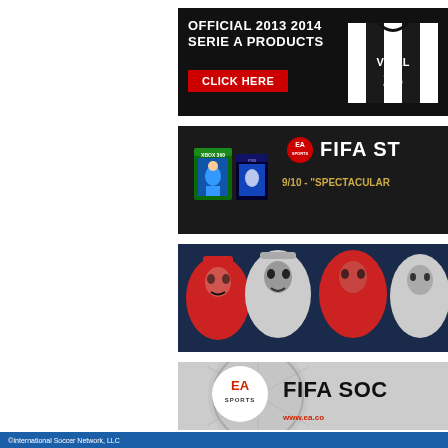[Figure (screenshot): Advertisement banner: Official 2013 2014 Serie A Products - Click Here, with a Juventus Vidal #23 jersey on dark background]
[Figure (screenshot): Advertisement banner: EA Sports FIFA Street game, rated 9/10 - Spectacular]
[Figure (screenshot): Advertisement banner: Stylized red and white soccer player face portraits on dark navy background]
[Figure (screenshot): Advertisement banner: EA Sports FIFA Soccer logo with www.ea.com URL on grey soccer ball background]
©International Soccer Network, LLC